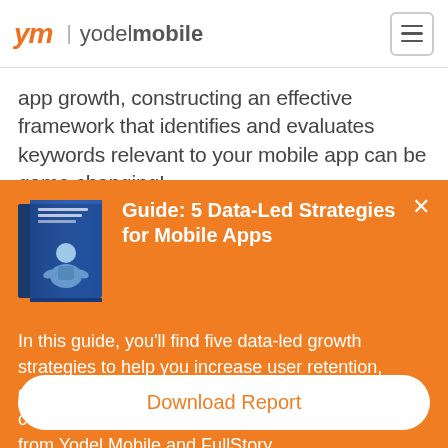ym | yodelmobile
app growth, constructing an effective framework that identifies and evaluates keywords relevant to your mobile app can be game changing!
[Figure (illustration): Book cover illustration for '5 Data-Led Strategies for Mobile Apps' guide, showing a blue book with a person on the cover]
Guide: 5 Data-Led Strategies for Mobile Apps
In this guide, you'll find five data-led growth strategies to help you increase user retention, decrease churn, and deliver a more perfect mobile customer experience, as told by industry experts from Yodel Mobile and FullStory.
Download Report